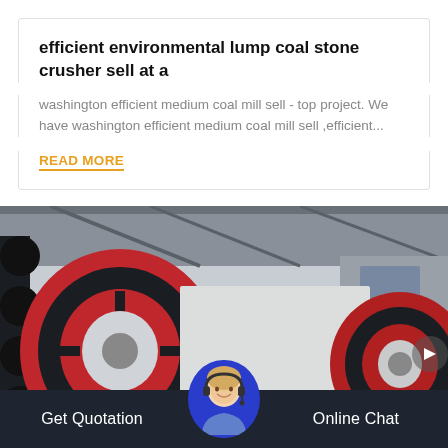efficient environmental lump coal stone crusher sell at a
washington efficient medium coal mill sell - top project. We have washington efficient medium coal mill sell ,efficient...
READ MORE
[Figure (photo): Industrial stone crusher machinery with large red and black flywheels inside a factory warehouse]
Get Quotation    Online Chat